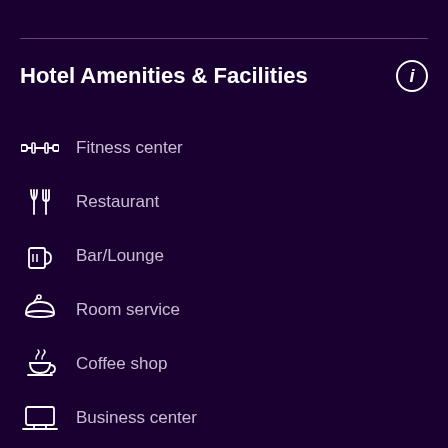Hotel Amenities & Facilities
Fitness center
Restaurant
Bar/Lounge
Room service
Coffee shop
Business center
Wi-Fi available in all areas
Flat-screen TV